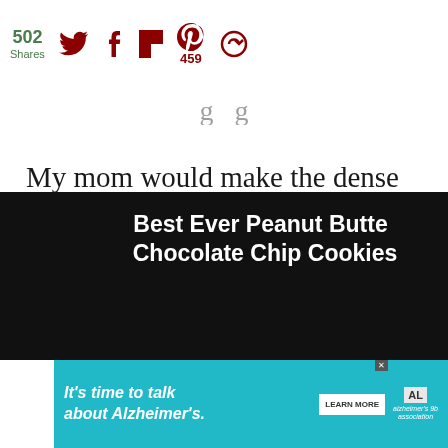502 Shares — social share bar with Twitter, Facebook, Flipboard, Pinterest (459), and another icon
My mom would make the dense old fashioned peanut butter cookies with the criss-cross marks in the top.
[Figure (screenshot): Video thumbnail overlay: Best Ever Peanut Butter Chocolate Chip Cookies with WHAT'S NEXT arrow and Soft Coconut Pudding... preview thumbnail]
[Figure (screenshot): Ad banner: It's time to talk about Alzheimer's. with LEARN MORE button and Alzheimer's association logo]